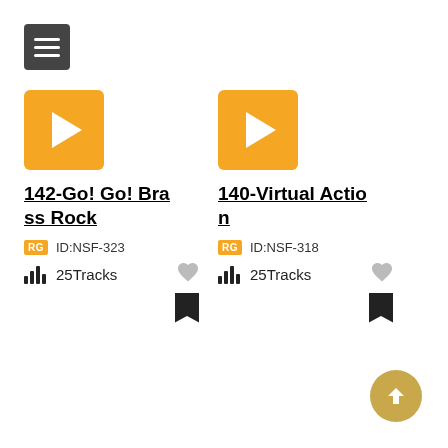[Figure (screenshot): Hamburger menu button (three horizontal lines on dark grey background)]
[Figure (screenshot): Play button card: 142-Go! Go! Brass Rock, orange play icon, RG badge, ID:NSF-323, 25 Tracks, heart icon, bookmark icon]
[Figure (screenshot): Play button card: 140-Virtual Action, orange play icon, RG badge, ID:NSF-318, 25 Tracks, heart icon, bookmark icon]